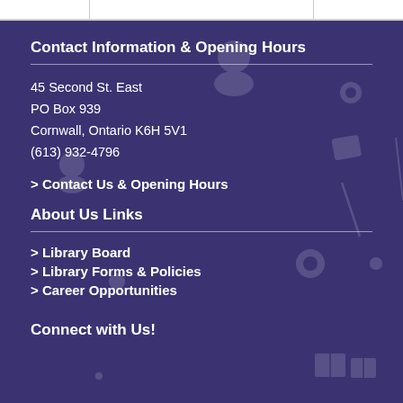|  |
Contact Information & Opening Hours
45 Second St. East
PO Box 939
Cornwall, Ontario K6H 5V1
(613) 932-4796
> Contact Us & Opening Hours
About Us Links
> Library Board
> Library Forms & Policies
> Career Opportunities
Connect with Us!